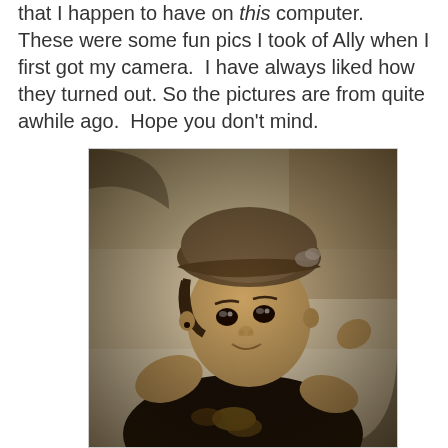that I happen to have on this computer.  These were some fun pics I took of Ally when I first got my camera.  I have always liked how they turned out. So the pictures are from quite awhile ago.  Hope you don't mind.
[Figure (photo): Sepia-toned portrait photo of a young child (Ally) wearing a beret-style cap and a dark shirt with a butterfly design, looking up at the camera with a slightly tilted head. The background is blurred with vignetting.]